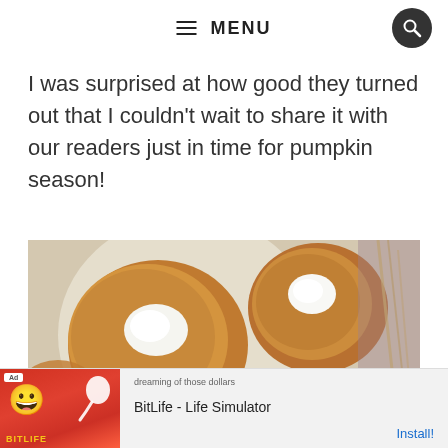MENU
I was surprised at how good they turned out that I couldn't wait to share it with our readers just in time for pumpkin season!
[Figure (photo): Close-up photo of pumpkin cookies with white marshmallows pressed into the center, arranged on a white surface with wheat stalks in background]
[Figure (other): Advertisement banner for BitLife - Life Simulator mobile app, showing app icon with emoji face and BitLife logo on red background]